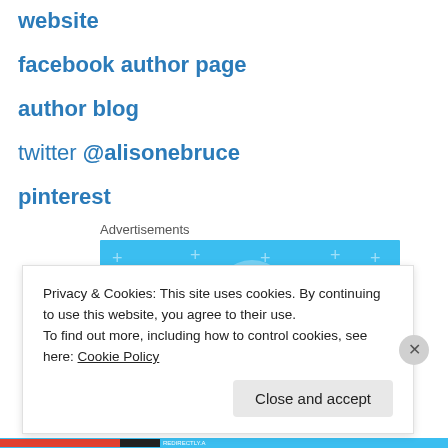website
facebook author page
author blog
twitter @alisonebruce
pinterest
Advertisements
[Figure (illustration): Advertisement banner with light blue background showing three circular icons with figures/documents]
Privacy & Cookies: This site uses cookies. By continuing to use this website, you agree to their use.
To find out more, including how to control cookies, see here: Cookie Policy